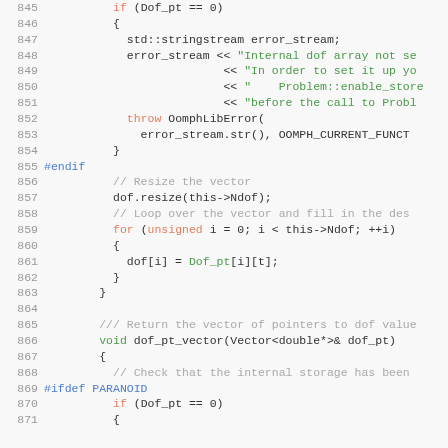[Figure (screenshot): Source code listing lines 845-871 in C++ with syntax highlighting. Shows code for checking dof_pt, error handling, vector resize and loop, and dof_pt_vector function.]